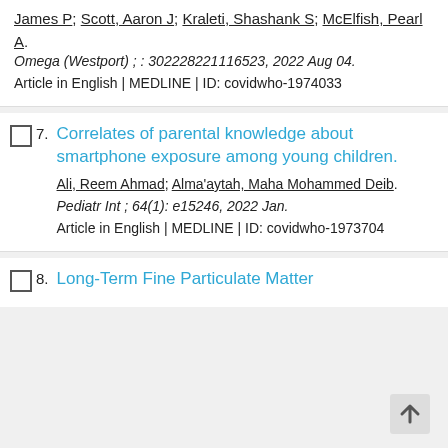James P; Scott, Aaron J; Kraleti, Shashank S; McElfish, Pearl A. Omega (Westport) ; : 302228221116523, 2022 Aug 04. Article in English | MEDLINE | ID: covidwho-1974033
7. Correlates of parental knowledge about smartphone exposure among young children. Ali, Reem Ahmad; Alma'aytah, Maha Mohammed Deib. Pediatr Int ; 64(1): e15246, 2022 Jan. Article in English | MEDLINE | ID: covidwho-1973704
8. Long-Term Fine Particulate Matter